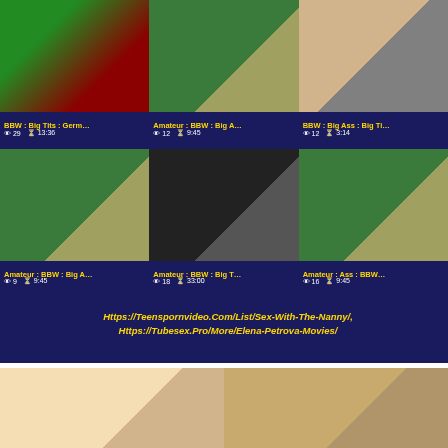[Figure (screenshot): Video thumbnail grid showing adult content website with 6 video thumbnails in two rows of three, each with title tags and view/duration stats, followed by URL text and two portrait thumbnails at bottom]
BBW : Big Tits : Germ…
Amateur : BBW : Big A…
BBW : Big Ass : Big Ti…
👁 29  ⏰ 13:36  👁 12  ⏰ 9:45  👁 12  ⏰ 3:14
Amateur : BBW : Big A…
Amateur : BBW : Big T…
Amateur : Ass : BBW…
👁 9  ⏰ 9:45  👁 18  ⏰ 33:00  👁 16  ⏰ 9:45
Https://Teenspornvideo.Com/List/Sex-With-The-Nanny/, Https://Tubesex.Pro/More/Elena-Petrova-Movies/